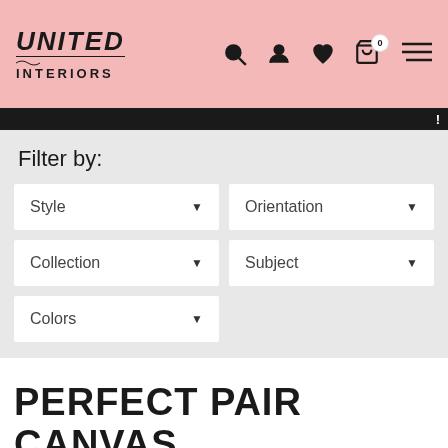[Figure (screenshot): United Interiors website header with pink background, logo on left, navigation icons (search, user, heart, cart with badge 0, hamburger menu) on right]
!
Filter by:
Style ▼
Orientation ▼
Collection ▼
Subject ▼
Colors ▼
PERFECT PAIR CANVAS PRINTS